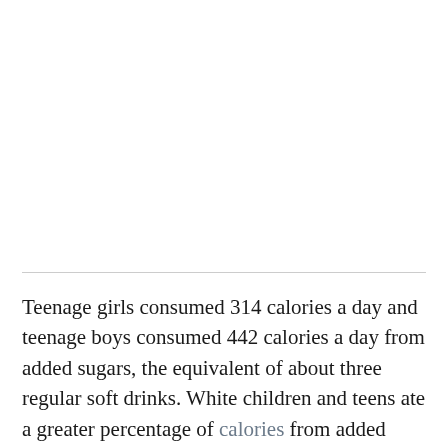Teenage girls consumed 314 calories a day and teenage boys consumed 442 calories a day from added sugars, the equivalent of about three regular soft drinks. White children and teens ate a greater percentage of calories from added sugar than